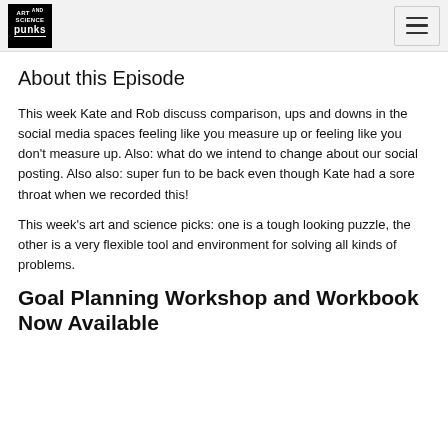Art and Science Punks [logo] [menu]
About this Episode
This week Kate and Rob discuss comparison, ups and downs in the social media spaces feeling like you measure up or feeling like you don't measure up. Also: what do we intend to change about our social posting. Also also: super fun to be back even though Kate had a sore throat when we recorded this!
This week's art and science picks: one is a tough looking puzzle, the other is a very flexible tool and environment for solving all kinds of problems.
Goal Planning Workshop and Workbook Now Available